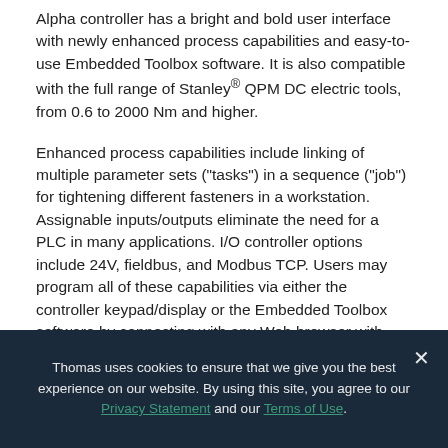Alpha controller has a bright and bold user interface with newly enhanced process capabilities and easy-to-use Embedded Toolbox software. It is also compatible with the full range of Stanley® QPM DC electric tools, from 0.6 to 2000 Nm and higher.
Enhanced process capabilities include linking of multiple parameter sets ("tasks") in a sequence ("job") for tightening different fasteners in a workstation. Assignable inputs/outputs eliminate the need for a PLC in many applications. I/O controller options include 24V, fieldbus, and Modbus TCP. Users may program all of these capabilities via either the controller keypad/display or the Embedded Toolbox software by connecting with any Web browser with JavaScript enabled and Adobe Flash Player installed.
Thomas uses cookies to ensure that we give you the best experience on our website. By using this site, you agree to our Privacy Statement and our Terms of Use.